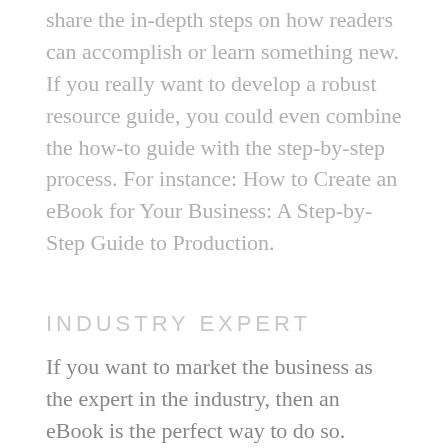share the in-depth steps on how readers can accomplish or learn something new. If you really want to develop a robust resource guide, you could even combine the how-to guide with the step-by-step process. For instance: How to Create an eBook for Your Business: A Step-by-Step Guide to Production.
INDUSTRY EXPERT
If you want to market the business as the expert in the industry, then an eBook is the perfect way to do so. Consider what products or services you provide which you would consider the company